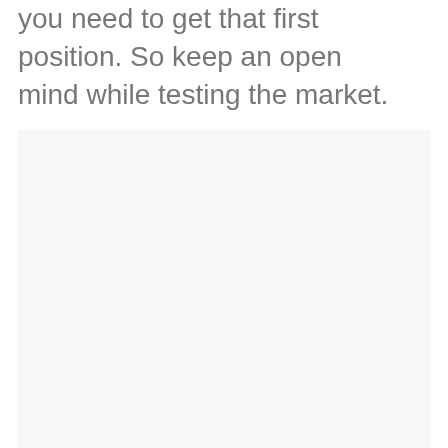you need to get that first position. So keep an open mind while testing the market.
[Figure (other): Large light gray rectangular placeholder image area]